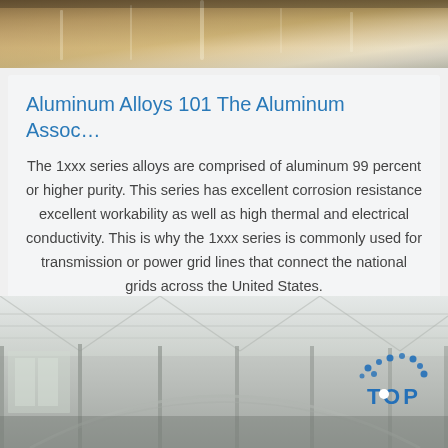[Figure (photo): Top portion of photo showing aluminum materials or industrial setting, warm beige/gold tones]
Aluminum Alloys 101 The Aluminum Assoc…
The 1xxx series alloys are comprised of aluminum 99 percent or higher purity. This series has excellent corrosion resistance excellent workability as well as high thermal and electrical conductivity. This is why the 1xxx series is commonly used for transmission or power grid lines that connect the national grids across the United States.
Get Price
[Figure (photo): Interior of large industrial warehouse or manufacturing facility with metal roof trusses and columns. A 'TOP' logo with blue dots is visible in the lower right corner.]